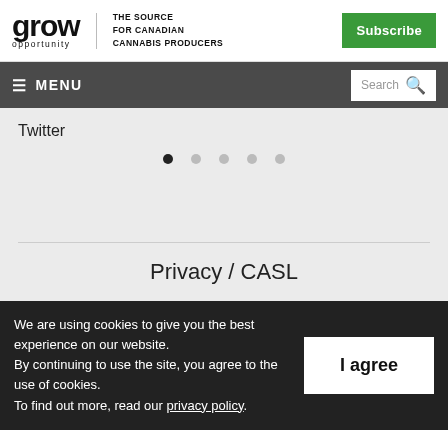grow opportunity – THE SOURCE FOR CANADIAN CANNABIS PRODUCERS | Subscribe
≡ MENU | Search
Twitter
[Figure (other): Carousel dot indicators: 5 dots, first dot is dark/active, rest are light gray]
Privacy / CASL
We are using cookies to give you the best experience on our website. By continuing to use the site, you agree to the use of cookies. To find out more, read our privacy policy.